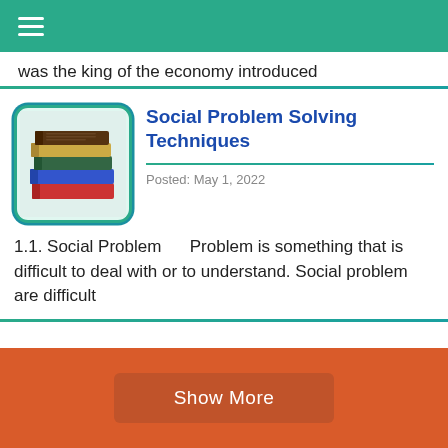☰
was the king of the economy introduced
[Figure (photo): Stack of books thumbnail image]
Social Problem Solving Techniques
Posted: May 1, 2022
1.1. Social Problem    Problem is something that is difficult to deal with or to understand. Social problem are difficult
Show More